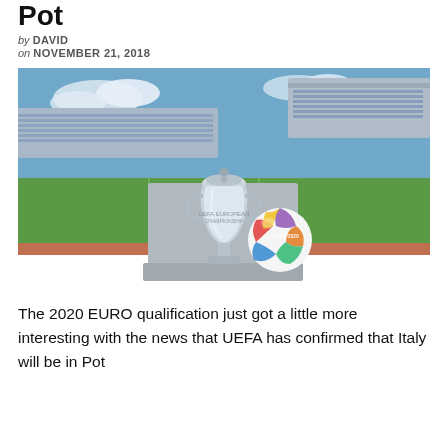Pot
by DAVID
on NOVEMBER 21, 2018
[Figure (photo): UEFA Euro 2020 trophy and official match ball displayed on a plinth in a football stadium (Stadio Olimpico, Rome), with blue seats and green pitch visible in the background under a partly cloudy sky.]
The 2020 EURO qualification just got a little more interesting with the news that UEFA has confirmed that Italy will be in Pot